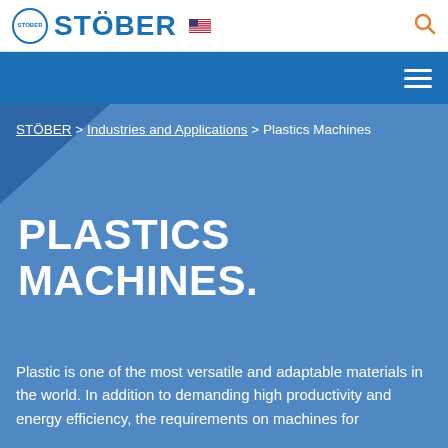STÖBER
STÖBER > Industries and Applications > Plastics Machines
PLASTICS MACHINES.
Plastic is one of the most versatile and adaptable materials in the world. In addition to demanding high productivity and energy efficiency, the requirements on machines for